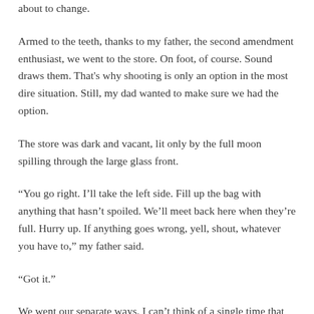about to change.
Armed to the teeth, thanks to my father, the second amendment enthusiast, we went to the store. On foot, of course. Sound draws them. That's why shooting is only an option in the most dire situation. Still, my dad wanted to make sure we had the option.
The store was dark and vacant, lit only by the full moon spilling through the large glass front.
“You go right. I’ll take the left side. Fill up the bag with anything that hasn’t spoiled. We’ll meet back here when they’re full. Hurry up. If anything goes wrong, yell, shout, whatever you have to,” my father said.
“Got it.”
We went our separate ways. I can’t think of a single time that man has told me he loves me. I guess I